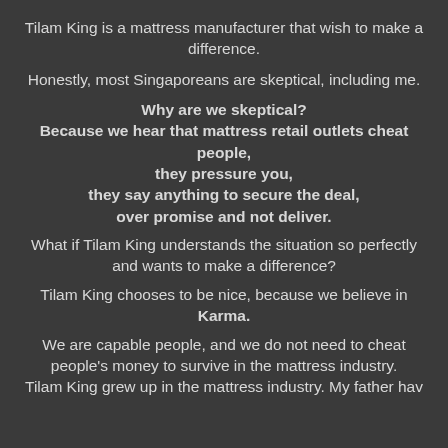Tilam King is a mattress manufacturer that wish to make a difference.
Honestly, most Singaporeans are skeptical, including me.
Why are we skeptical?
Because we hear that mattress retail outlets cheat people,
they pressure you,
they say anything to secure the deal,
over promise and not deliver.
What if Tilam King understands the situation so perfectly and wants to make a difference?
Tilam King chooses to be nice, because we believe in Karma.
We are capable people, and we do not need to cheat people's money to survive in the mattress industry. Tilam King grew up in the mattress industry. My father hav